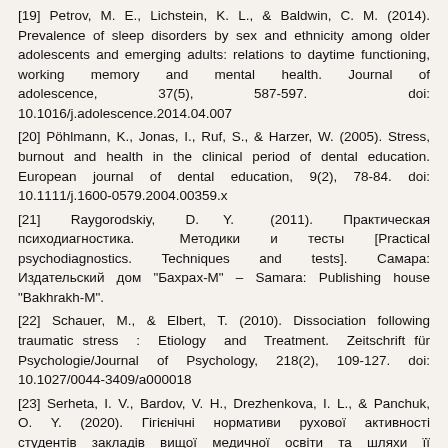[19] Petrov, M. E., Lichstein, K. L., & Baldwin, C. M. (2014). Prevalence of sleep disorders by sex and ethnicity among older adolescents and emerging adults: relations to daytime functioning, working memory and mental health. Journal of adolescence, 37(5), 587-597. doi: 10.1016/j.adolescence.2014.04.007
[20] Pöhlmann, K., Jonas, I., Ruf, S., & Harzer, W. (2005). Stress, burnout and health in the clinical period of dental education. European journal of dental education, 9(2), 78-84. doi: 10.1111/j.1600-0579.2004.00359.x
[21] Raygorodskiy, D. Y. (2011). Практическая психодиагностика. Методики и тесты [Practical psychodiagnostics. Techniques and tests]. Самара: Издательский дом "Бахрах-М" – Samara: Publishing house "Bakhrakh-M".
[22] Schauer, M., & Elbert, T. (2010). Dissociation following traumatic stress : Etiology and Treatment. Zeitschrift für Psychologie/Journal of Psychology, 218(2), 109-127. doi: 10.1027/0044-3409/a000018
[23] Serheta, I. V., Bardov, V. H., Drezhenkova, I. L., & Panchuk, O. Y. (2020). Гігієнічні нормативи рухової активності студентів закладів вищої медичної освіти та шляхи її оптимізації [Hygienic standards of motor activity of students